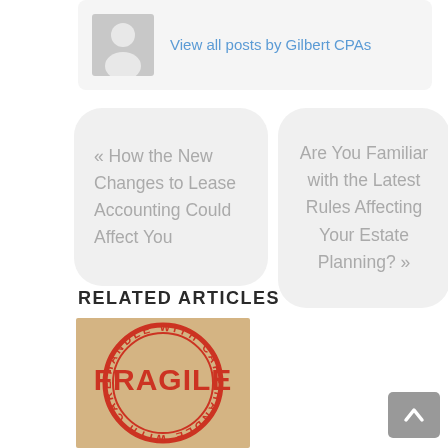[Figure (other): Author avatar placeholder (grey silhouette icon) and 'View all posts by Gilbert CPAs' link in a light grey rounded box]
« How the New Changes to Lease Accounting Could Affect You
Are You Familiar with the Latest Rules Affecting Your Estate Planning? »
RELATED ARTICLES
[Figure (photo): A fragile shipping label image on brown cardboard background with red 'HANDLE WITH CARE' circular stamp and 'FRAGILE' text in large red letters]
[Figure (other): Grey 'back to top' button with upward chevron arrow in bottom right corner]